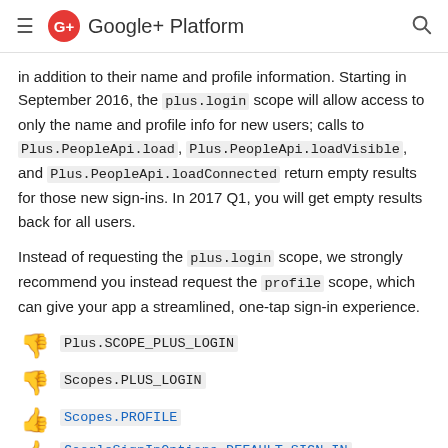Google+ Platform
in addition to their name and profile information. Starting in September 2016, the plus.login scope will allow access to only the name and profile info for new users; calls to Plus.PeopleApi.load, Plus.PeopleApi.loadVisible, and Plus.PeopleApi.loadConnected return empty results for those new sign-ins. In 2017 Q1, you will get empty results back for all users.
Instead of requesting the plus.login scope, we strongly recommend you instead request the profile scope, which can give your app a streamlined, one-tap sign-in experience.
Plus.SCOPE_PLUS_LOGIN
Scopes.PLUS_LOGIN
Scopes.PROFILE
GoogleSignInOptions.DEFAULT_SIGN_IN